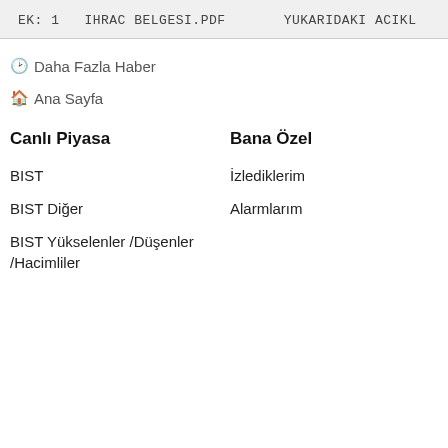EK: 1   IHRAC BELGESI.PDF       YUKARIDAKI ACIKL
Daha Fazla Haber
Ana Sayfa
Canlı Piyasa
Bana Özel
BIST
İzlediklerim
BIST Diğer
Alarmlarım
BIST Yükselenler /Düşenler /Hacimliler